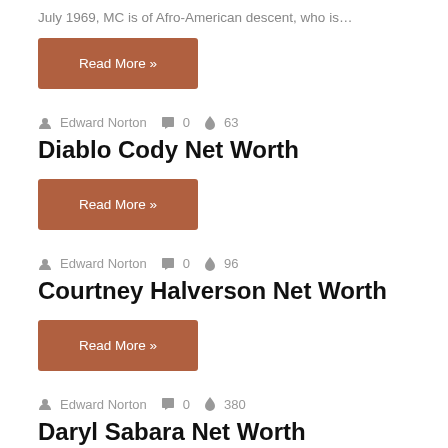July 1969, MC is of Afro-American descent, who is…
Read More »
Edward Norton  0  63
Diablo Cody Net Worth
Read More »
Edward Norton  0  96
Courtney Halverson Net Worth
Read More »
Edward Norton  0  380
Daryl Sabara Net Worth
Read More »
Edward Norton  0  260